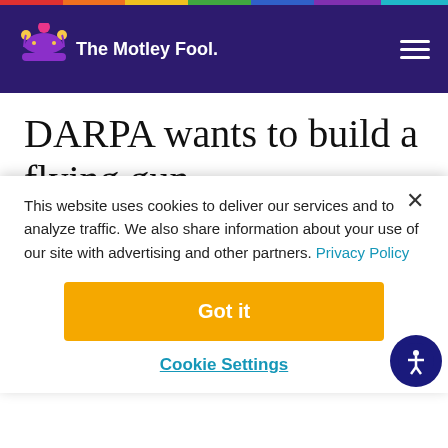The Motley Fool
DARPA wants to build a flying gun.
U.S. Air Force brass have been attempting for years to ground the service's fleet of A-10
This website uses cookies to deliver our services and to analyze traffic. We also share information about your use of our site with advertising and other partners. Privacy Policy
Got it
Cookie Settings